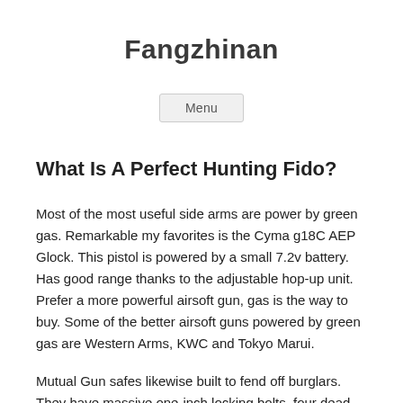Fangzhinan
Menu
What Is A Perfect Hunting Fido?
Most of the most useful side arms are power by green gas. Remarkable my favorites is the Cyma g18C AEP Glock. This pistol is powered by a small 7.2v battery. Has good range thanks to the adjustable hop-up unit. Prefer a more powerful airsoft gun, gas is the way to buy. Some of the better airsoft guns powered by green gas are Western Arms, KWC and Tokyo Marui.
Mutual Gun safes likewise built to fend off burglars. They have massive one-inch locking bolts, four dead bolts facing